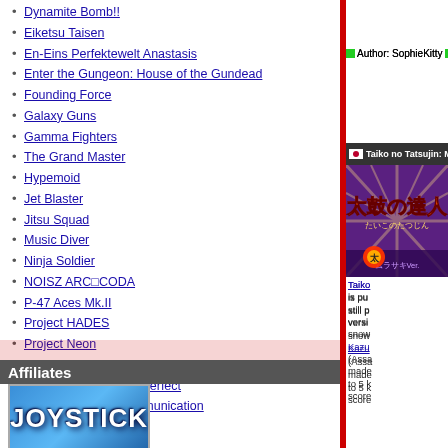Dynamite Bomb!!
Eiketsu Taisen
En-Eins Perfektewelt Anastasis
Enter the Gungeon: House of the Gundead
Founding Force
Galaxy Guns
Gamma Fighters
The Grand Master
Hypemoid
Jet Blaster
Jitsu Squad
Music Diver
Ninja Soldier
NOISZ ARC□CODA
P-47 Aces Mk.II
Project HADES
Project Neon
Raiden IV x Mikado Remix
Samurai Shodown V Perfect
Shakuga: The Excommunication
Steam Pilots
Strike Harbinger
Strikers 2020
Strip Fighter 5 Arcade Edition
Affiliates
[Figure (logo): Joystick logo with blue background]
Author: SophieKitty  More info...  Perm
Taiko no Tatsujin: Murasaki Ver.
[Figure (screenshot): Taiko no Tatsujin: Murasaki Ver. game logo/screenshot with purple background]
Taiko is published still p version snow Kazu (Assa made to 5 k score
Author: SophieKitty  More info...  Perm
Virtua Fighter 5 Final Showdown VERSION B
[Figure (screenshot): Virtua Fighter 5 Final Showdown game screenshot showing player with headband]
Virtua The adjust ALL.b